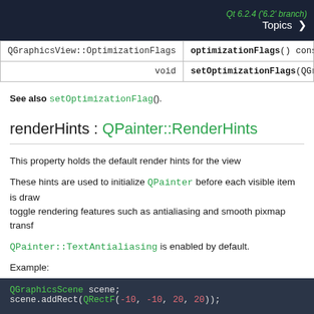Qt 6.2.4 ('6.2' branch)  Topics >
| Type | Method |
| --- | --- |
| QGraphicsView::OptimizationFlags | optimizationFlags() const |
| void | setOptimizationFlags(QGraphicsVi... |
See also setOptimizationFlag().
renderHints : QPainter::RenderHints
This property holds the default render hints for the view
These hints are used to initialize QPainter before each visible item is drawn, to toggle rendering features such as antialiasing and smooth pixmap transformations.
QPainter::TextAntialiasing is enabled by default.
Example:
[Figure (screenshot): Code block showing QGraphicsScene scene; and scene.addRect(QRectF(-10, -10, 20, 20)); in a dark themed code editor]